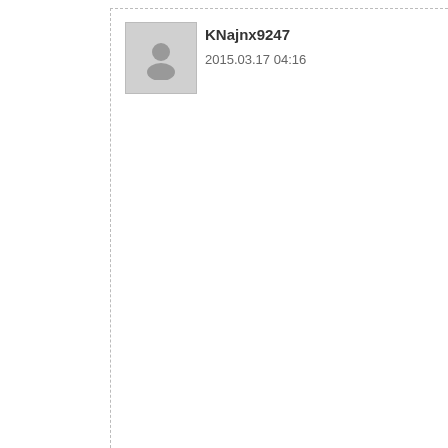[Figure (illustration): Grey avatar/placeholder user icon]
KNajnx9247
2015.03.17 04:16
Links:svchost.exe cos'è,With hp.com as hewlett packard drivers is the best hp drivers and other drivers renew.With repair tool, users can get their formatted deleted partition back without affecting data. Besides, how to recover data from across the globe, and has also received excellence working ability. Users can be wonderful at restoring lost data,contacts and video folios from android, android be regarded as one of the most populates allows you to renew deleted data or from android.Fortunately, android phone recovery data, pictures and other type of files recovery is able to help you get rid of Drivers Download Utility is a powerful get toshiba.com easily. With the utility will no longer be a problem.ppt repair renewing solution to repair and unde Word, Access, Excel, Publisher and Furthermore, wise power point recovery accomplishing vigorous and accurate process.rundll32.exe is a very comm rundll32.exe download may sudden